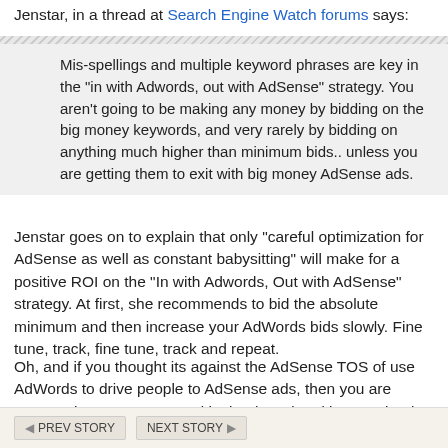Jenstar, in a thread at Search Engine Watch forums says:
Mis-spellings and multiple keyword phrases are key in the "in with Adwords, out with AdSense" strategy. You aren't going to be making any money by bidding on the big money keywords, and very rarely by bidding on anything much higher than minimum bids.. unless you are getting them to exit with big money AdSense ads.
Jenstar goes on to explain that only "careful optimization for AdSense as well as constant babysitting" will make for a positive ROI on the "In with Adwords, Out with AdSense" strategy. At first, she recommends to bid the absolute minimum and then increase your AdWords bids slowly. Fine tune, track, fine tune, track and repeat.
Oh, and if you thought its against the AdSense TOS of use AdWords to drive people to AdSense ads, then you are wrong. That to was covered in the thread and is now clearly known to be accepted by Google.
◄ PREV STORY   NEXT STORY ►